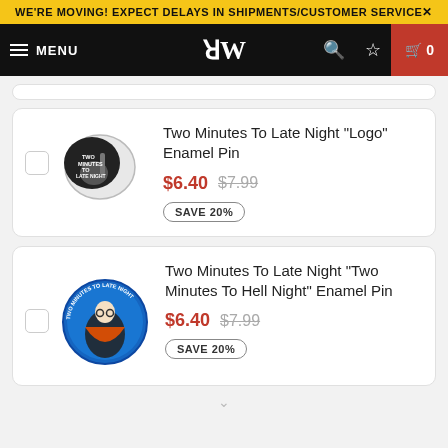WE'RE MOVING! EXPECT DELAYS IN SHIPMENTS/CUSTOMER SERVICE
MENU | DW logo | 0
Two Minutes To Late Night "Logo" Enamel Pin
$6.40  $7.99  SAVE 20%
Two Minutes To Late Night "Two Minutes To Hell Night" Enamel Pin
$6.40  $7.99  SAVE 20%